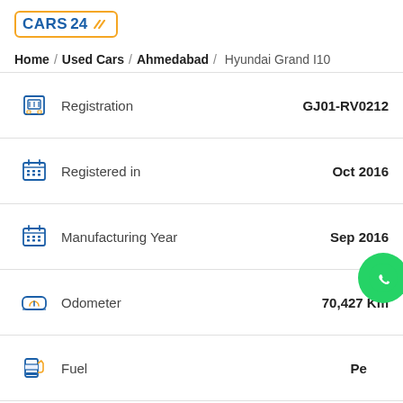[Figure (logo): CARS24 logo with orange border and diagonal stripes]
Home / Used Cars / Ahmedabad / Hyundai Grand I10
| Field | Value |
| --- | --- |
| Registration | GJ01-RV0212 |
| Registered in | Oct 2016 |
| Manufacturing Year | Sep 2016 |
| Odometer | 70,427 Km |
| Fuel | Pe(trol) |
| Transmission | Manual |
| Engine Capacity | 1197 cc |